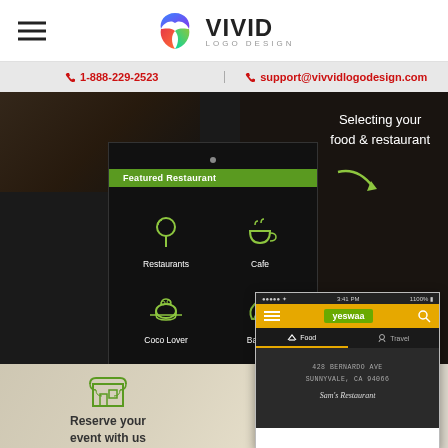VIVID LOGO DESIGN
1-888-229-2523 | support@vivvidlogodesign.com
[Figure (screenshot): Mobile food app UI with dark background showing Featured Restaurant screen with icons: Restaurants, Cafe, Coco Lover, Bakery. Right side shows 'Selecting your food & restaurant' text with arrow.]
[Figure (screenshot): Mobile phone screenshot showing yeswaa app with Food and Travel tabs, address 428 Bernardo Ave, Sunnyvale CA 94066, Sam's Restaurant]
Reserve your event with us